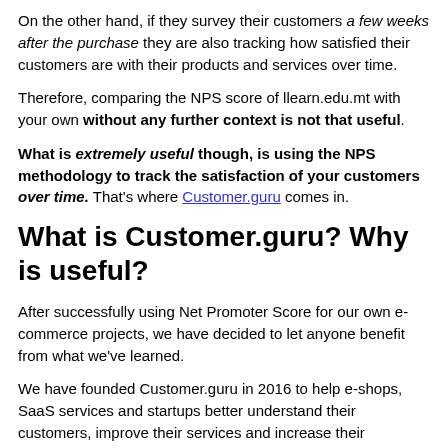On the other hand, if they survey their customers a few weeks after the purchase they are also tracking how satisfied their customers are with their products and services over time.
Therefore, comparing the NPS score of llearn.edu.mt with your own without any further context is not that useful.
What is extremely useful though, is using the NPS methodology to track the satisfaction of your customers over time. That's where Customer.guru comes in.
What is Customer.guru? Why is useful?
After successfully using Net Promoter Score for our own e-commerce projects, we have decided to let anyone benefit from what we've learned.
We have founded Customer.guru in 2016 to help e-shops, SaaS services and startups better understand their customers, improve their services and increase their revenues.